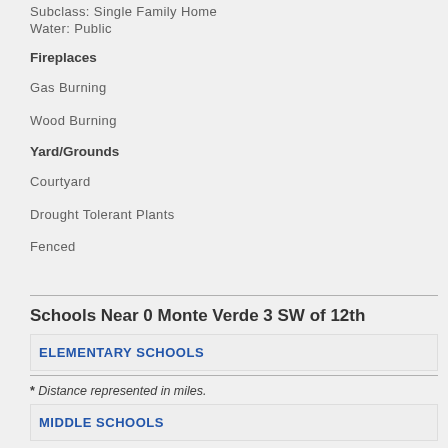Subclass: Single Family Home
Water: Public
Fireplaces
Gas Burning
Wood Burning
Yard/Grounds
Courtyard
Drought Tolerant Plants
Fenced
Schools Near 0 Monte Verde 3 SW of 12th
ELEMENTARY SCHOOLS
* Distance represented in miles.
MIDDLE SCHOOLS